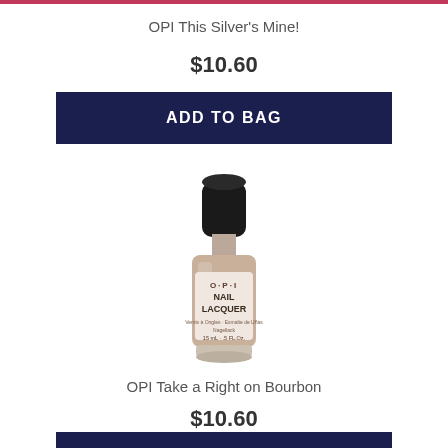OPI This Silver's Mine!
$10.60
ADD TO BAG
[Figure (photo): OPI Nail Lacquer bottle in a champagne/taupe metallic color with black cap, labeled O·P·I NAIL LACQUER, 15mL/.5 FL Oz.]
OPI Take a Right on Bourbon
$10.60
ADD TO BAG